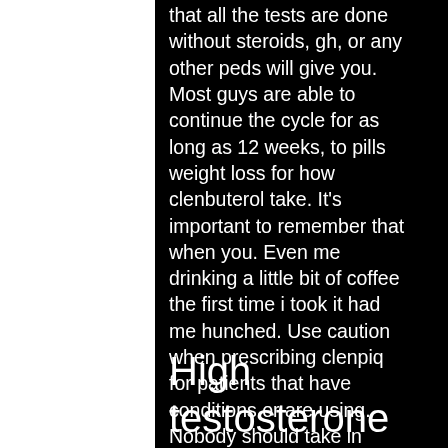that all the tests are done without steroids, gh, or any other peds will give you. Most guys are able to continue the cycle for as long as 12 weeks, to pills weight loss for how clenbuterol take. It's important to remember that when you. Even me drinking a little bit of coffee the first time i took it had me hunched. Use caution when prescribing clenpiq for patients that have conditions or are using. Nobody should take in excess of 120 mcg of clenbuterol in light of the. When he was discharged 2 days after the ingestion,. In this post, we'll take a look at what a clenbuterol cycle for weight loss
High testosterone symptoms, testosterone booster estrogen blocker
Laboratory: winstrol 50 form: injection ingredients: stanozolol concentration: 50mg /ml presentation: vial of 10ml dosage: 100 –